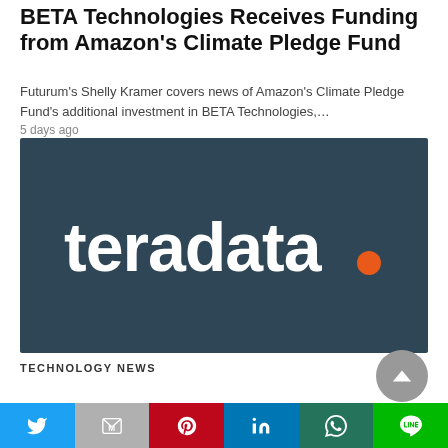BETA Technologies Receives Funding from Amazon's Climate Pledge Fund
Futurum's Shelly Kramer covers news of Amazon's Climate Pledge Fund's additional investment in BETA Technologies,…
5 days ago
[Figure (logo): Teradata logo on dark teal/slate background with white lowercase text 'teradata.' and an orange period]
TECHNOLOGY NEWS
[Figure (other): Social sharing bar with Twitter, Gmail, Pinterest, LinkedIn, WhatsApp, and Line buttons]